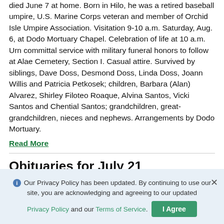died June 7 at home. Born in Hilo, he was a retired baseball umpire, U.S. Marine Corps veteran and member of Orchid Isle Umpire Association. Visitation 9-10 a.m. Saturday, Aug. 6, at Dodo Mortuary Chapel. Celebration of life at 10 a.m. Urn committal service with military funeral honors to follow at Alae Cemetery, Section I. Casual attire. Survived by siblings, Dave Doss, Desmond Doss, Linda Doss, Joann Willis and Patricia Petkosek; children, Barbara (Alan) Alvarez, Shirley Filoteo Roaque, Alvina Santos, Vicki Santos and Chential Santos; grandchildren, great-grandchildren, nieces and nephews. Arrangements by Dodo Mortuary.
Read More
Obituaries for July 21
Our Privacy Policy has been updated. By continuing to use our site, you are acknowledging and agreeing to our updated Privacy Policy and our Terms of Service.